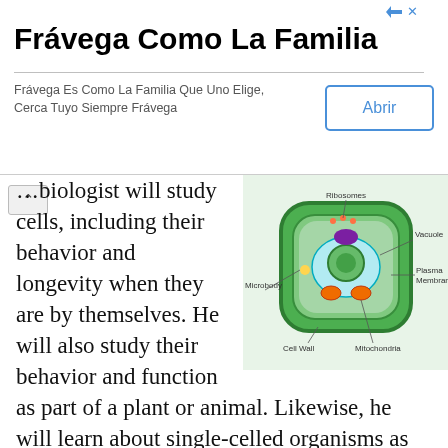[Figure (other): Advertisement banner for Frávega Como La Familia with title, subtitle text, and Abrir button]
[Figure (illustration): 3D diagram of a plant cell with labeled parts: Ribosomes, Vacuole, Plasma Membrane, Mitochondria, Cell Wall, Microbody]
...biologist will study cells, including their behavior and longevity when they are by themselves. He will also study their behavior and function as part of a plant or animal. Likewise, he will learn about single-celled organisms as part of his studies. He will typically also cover how cells are interrelated and thoroughly explore cell anatomy. Among the science fields a person usually explores while pursing a cell biology degree include